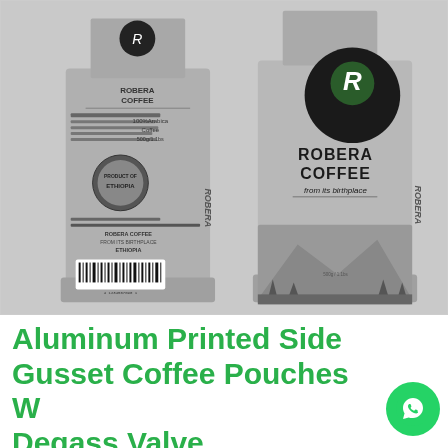[Figure (photo): Two gray matte aluminum side gusset coffee pouches with 'Robera Coffee from its birthplace' branding. Left pouch shows the back with barcode, Ethiopia origin seal, and product description text. Right pouch shows the front with a large circular logo, 'ROBERA COFFEE from its birthplace' text, and scenic Ethiopian landscape illustration at the bottom.]
Aluminum Printed Side Gusset Coffee Pouches With Degass Valve